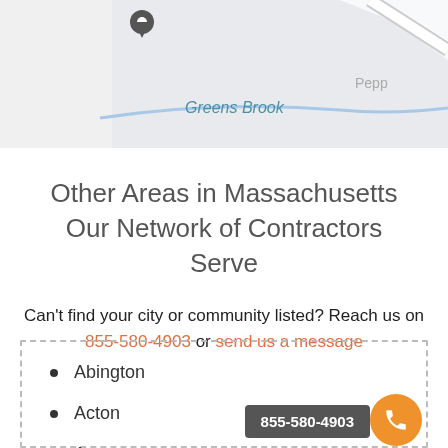[Figure (map): Partial Google Maps screenshot showing Greens Brook label and Pepp... road label with a location pin marker.]
Other Areas in Massachusetts Our Network of Contractors Serve
Can't find your city or community listed? Reach us on 855-580-4903 or send us a message
Abington
Acton
Agawam
Allston